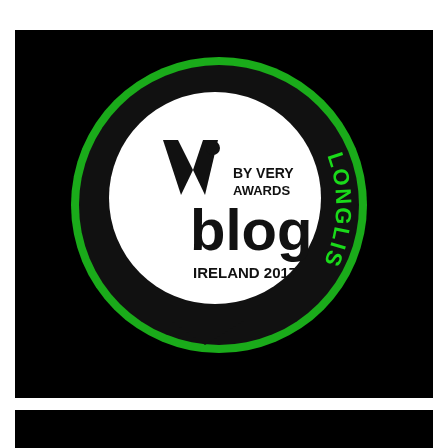[Figure (logo): Blog Awards Ireland 2017 by Very Awards badge with 'LONGLIST' text. Black circular speech bubble shape on colorful repeated chat-bubble pattern background. Center white circle contains the text 'by Very Awards blog IRELAND 2017' with stylized 'V' logo. 'LONGLIST' appears in green text along the right arc of the outer black circle. Background is a repeating pattern of colorful (pink, cyan, green, orange) outlined chat bubble icons on black.]
[Figure (other): Partial bottom strip showing the same colorful chat bubble pattern on black background, cropped at the bottom of the page.]